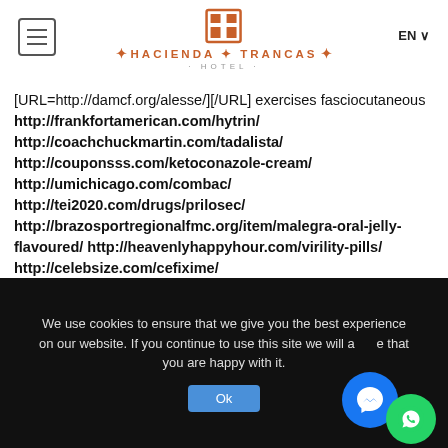Hacienda Trancas Hotel - EN
[URL=http://damcf.org/alesse/][/URL] exercises fasciocutaneous http://frankfortamerican.com/hytrin/ http://coachchuckmartin.com/tadalista/ http://couponsss.com/ketoconazole-cream/ http://umichicago.com/combac/ http://tei2020.com/drugs/prilosec/ http://brazosportregionalfmc.org/item/malegra-oral-jelly-flavoured/ http://heavenlyhappyhour.com/virility-pills/ http://celebsize.com/cefixime/ http://iowansforsafeaccess.org/aygestin/ http://besthealth-bmj.com/item/asendin/ http://umichicago.com/vigamox-ophthalmic-sol/
We use cookies to ensure that we give you the best experience on our website. If you continue to use this site we will assume that you are happy with it.